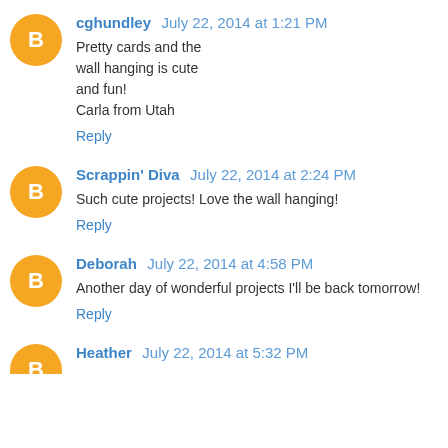cghundley July 22, 2014 at 1:21 PM
Pretty cards and the wall hanging is cute and fun!
Carla from Utah
Reply
Scrappin' Diva July 22, 2014 at 2:24 PM
Such cute projects! Love the wall hanging!
Reply
Deborah July 22, 2014 at 4:58 PM
Another day of wonderful projects I'll be back tomorrow!
Reply
Heather July 22, 2014 at 5:32 PM